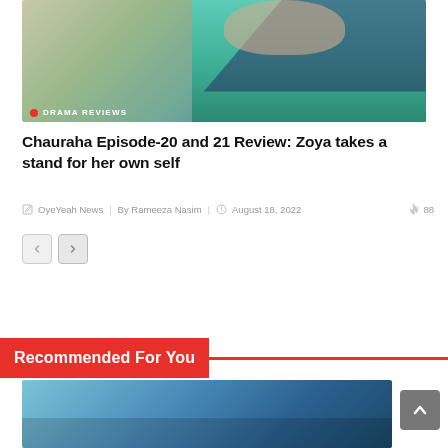[Figure (photo): Woman in teal top with dark shawl, drama scene thumbnail with 'DRAMA REVIEWS' label overlay]
Chauraha Episode-20 and 21 Review: Zoya takes a stand for her own self
OyeYeah News  By Rameeza Nasim  August 18, 2022  88
[Figure (other): Navigation previous/next arrow buttons]
Recommended For You
[Figure (photo): Partial thumbnail image at bottom of page]